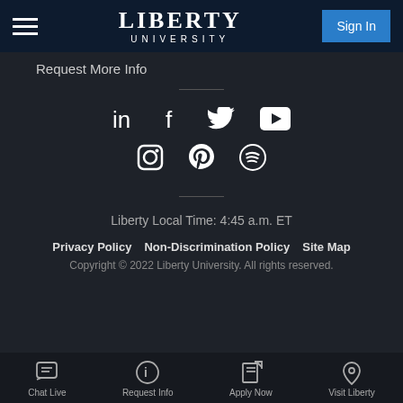LIBERTY UNIVERSITY | Sign In
Request More Info
[Figure (other): Social media icons: LinkedIn, Facebook, Twitter, YouTube, Instagram, Pinterest, Spotify]
Liberty Local Time: 4:45 a.m. ET
Privacy Policy   Non-Discrimination Policy   Site Map
Copyright © 2022 Liberty University. All rights reserved.
Chat Live   Request Info   Apply Now   Visit Liberty